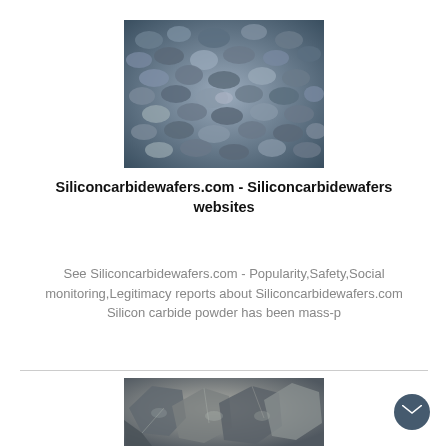[Figure (photo): Pile of small dark blue-gray silicon carbide gravel/grit pieces]
Siliconcarbidewafers.com - Siliconcarbidewafers websites
See Siliconcarbidewafers.com - Popularity,Safety,Social monitoring,Legitimacy reports about Siliconcarbidewafers.com Silicon carbide powder has been mass-p
[Figure (photo): Pile of larger silvery-dark silicon carbide chunks/lumps]